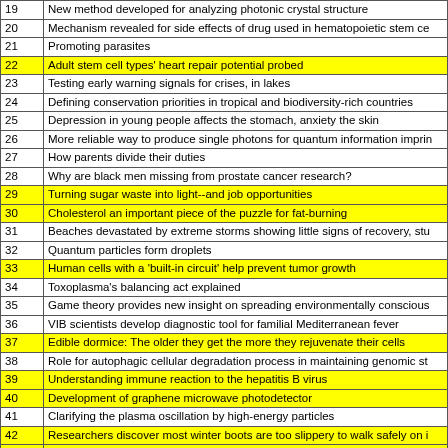| # | Title |
| --- | --- |
| 19 | New method developed for analyzing photonic crystal structure |
| 20 | Mechanism revealed for side effects of drug used in hematopoietic stem ce |
| 21 | Promoting parasites |
| 22 | Adult stem cell types' heart repair potential probed |
| 23 | Testing early warning signals for crises, in lakes |
| 24 | Defining conservation priorities in tropical and biodiversity-rich countries |
| 25 | Depression in young people affects the stomach, anxiety the skin |
| 26 | More reliable way to produce single photons for quantum information imprin |
| 27 | How parents divide their duties |
| 28 | Why are black men missing from prostate cancer research? |
| 29 | Turning sugar waste into light--and job opportunities |
| 30 | Cholesterol an important piece of the puzzle for fat-burning |
| 31 | Beaches devastated by extreme storms showing little signs of recovery, stu |
| 32 | Quantum particles form droplets |
| 33 | Human cells with a 'built-in circuit' help prevent tumor growth |
| 34 | Toxoplasma's balancing act explained |
| 35 | Game theory provides new insight on spreading environmentally conscious |
| 36 | VIB scientists develop diagnostic tool for familial Mediterranean fever |
| 37 | Edible dormice: The older they get the more they rejuvenate their cells |
| 38 | Role for autophagic cellular degradation process in maintaining genomic st |
| 39 | Understanding immune reaction to the hepatitis B virus |
| 40 | Development of graphene microwave photodetector |
| 41 | Clarifying the plasma oscillation by high-energy particles |
| 42 | Researchers discover most winter boots are too slippery to walk safely on i |
| 43 | Scientists propose 10 policies to protect vital pollinators |
| 44 | New target receptor discovered in the fight against obesity |
| 45 | Tissue damage is key for cell reprogramming |
| 46 | A new perovskite could lead the next generation of data storage |
| 47 | First steps to neutralizing Zika |
| 48 | Fault curvature may control where big quakes occur |
| 49 | Endangered bats: bringing a species back from the brink of d |